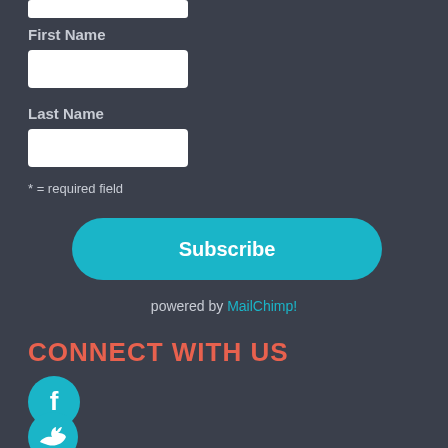[Figure (other): Partial white input box at top of page (cropped)]
First Name
[Figure (other): White input field for First Name]
Last Name
[Figure (other): White input field for Last Name]
* = required field
[Figure (other): Teal rounded Subscribe button]
powered by MailChimp!
CONNECT WITH US
[Figure (other): Teal circle with Facebook 'f' icon]
[Figure (other): Teal circle with Twitter bird icon (partially visible)]